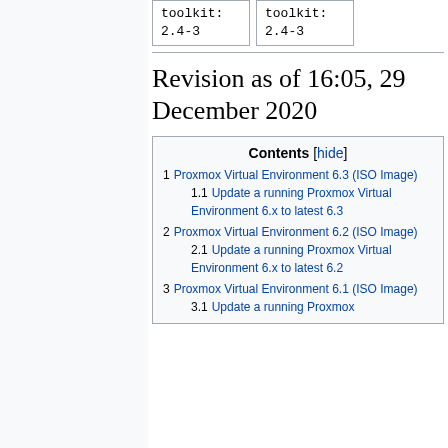| toolkit:
2.4-3 | toolkit:
2.4-3 |
Revision as of 16:05, 29 December 2020
| Contents [hide] |
| --- |
| 1 | Proxmox Virtual Environment 6.3 (ISO Image) |
| 1.1 | Update a running Proxmox Virtual Environment 6.x to latest 6.3 |
| 2 | Proxmox Virtual Environment 6.2 (ISO Image) |
| 2.1 | Update a running Proxmox Virtual Environment 6.x to latest 6.2 |
| 3 | Proxmox Virtual Environment 6.1 (ISO Image) |
| 3.1 | Update a running Proxmox |